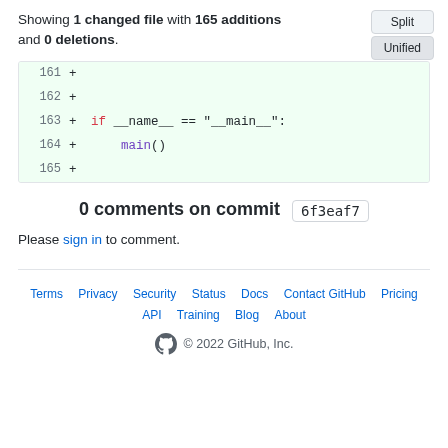Showing 1 changed file with 165 additions and 0 deletions.
[Figure (screenshot): Git diff view showing lines 161-165 as additions (green background), with code: line 163 shows 'if __name__ == "__main__":', line 164 shows 'main()', along with Split/Unified toggle buttons]
0 comments on commit 6f3eaf7
Please sign in to comment.
Terms · Privacy · Security · Status · Docs · Contact GitHub · Pricing · API · Training · Blog · About · © 2022 GitHub, Inc.